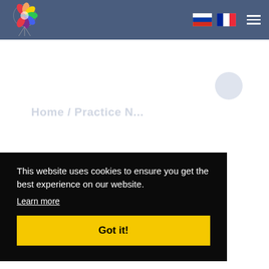[Figure (logo): Colorful brain/kite logo on dark blue header bar with navigation flags (Russian, French) and hamburger menu icon]
This website uses cookies to ensure you get the best experience on our website.
Learn more
Got it!